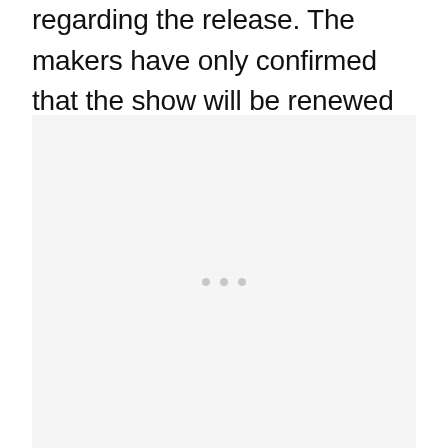regarding the release. The makers have only confirmed that the show will be renewed for a second season.
[Figure (other): Light gray placeholder box with three small gray dots in the center, indicating a loading or embedded advertisement area.]